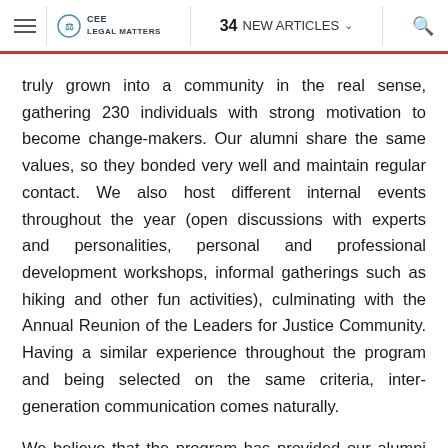≡  CEE Legal Matters  |  34 NEW ARTICLES ∨  🔍
truly grown into a community in the real sense, gathering 230 individuals with strong motivation to become change-makers. Our alumni share the same values, so they bonded very well and maintain regular contact. We also host different internal events throughout the year (open discussions with experts and personalities, personal and professional development workshops, informal gatherings such as hiking and other fun activities), culminating with the Annual Reunion of the Leaders for Justice Community. Having a similar experience throughout the program and being selected on the same criteria, inter-generation communication comes naturally.
We believe that the program has provided our alumni with